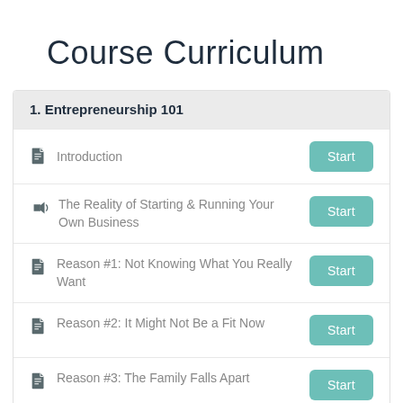Course Curriculum
1. Entrepreneurship 101
Introduction
The Reality of Starting & Running Your Own Business
Reason #1: Not Knowing What You Really Want
Reason #2: It Might Not Be a Fit Now
Reason #3: The Family Falls Apart